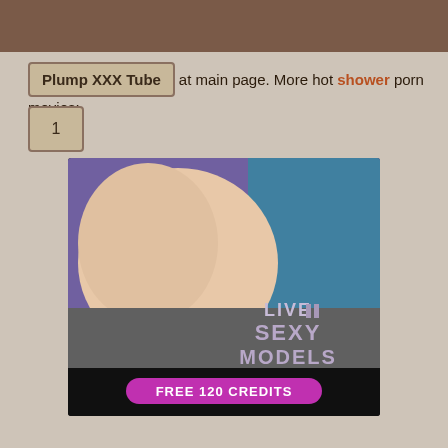Plump XXX Tube at main page. More hot shower porn movies:
1
[Figure (photo): Adult advertisement banner showing 'LIVE SEXY MODELS' text overlay with 'FREE 120 CREDITS' button]